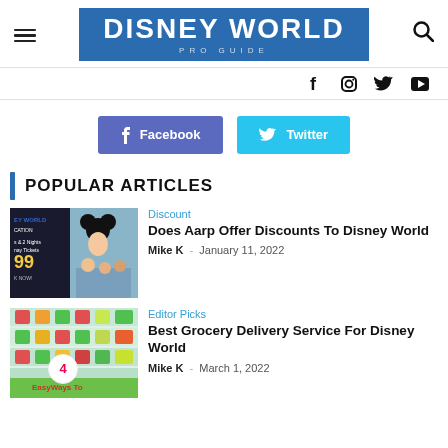DISNEY WORLD PRO GUIDE
[Figure (logo): Disney World Pro Guide logo — blue rectangle with bold white DISNEY WORLD text and PRO GUIDE subtitle]
[Figure (infographic): Social icons bar: Facebook, Instagram, Twitter, YouTube]
[Figure (infographic): Share buttons: Facebook (purple-blue) and Twitter (light blue)]
POPULAR ARTICLES
[Figure (photo): Article thumbnail: Disney World discount advertisement with Mickey Mouse and a family]
Discount
Does Aarp Offer Discounts To Disney World
Mike K  -  January 11, 2022
[Figure (photo): Article thumbnail: grocery store shelves with produce and a badge showing number 4, with EasyWays To text overlay]
Editor Picks
Best Grocery Delivery Service For Disney World
Mike K  -  March 1, 2022